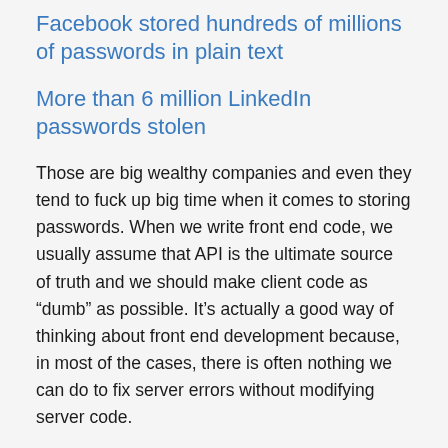Facebook stored hundreds of millions of passwords in plain text
More than 6 million LinkedIn passwords stolen
Those are big wealthy companies and even they tend to fuck up big time when it comes to storing passwords. When we write front end code, we usually assume that API is the ultimate source of truth and we should make client code as “dumb” as possible. It’s actually a good way of thinking about front end development because, in most of the cases, there is often nothing we can do to fix server errors without modifying server code.
Well, it turned out, there is something we can do to